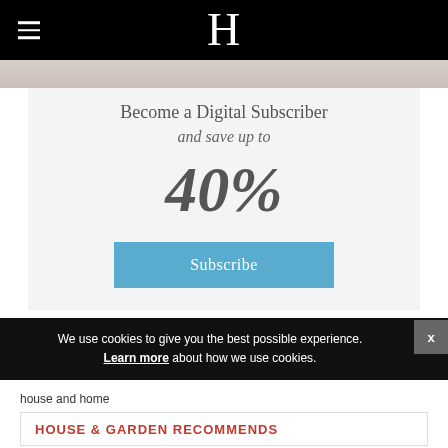H
[Figure (photo): Partial photo strip at top of page, light beige/neutral tones]
Become a Digital Subscriber
and save up to
40%
Subscribe
We use cookies to give you the best possible experience. Learn more about how we use cookies.
house and home
HOUSE & GARDEN RECOMMENDS